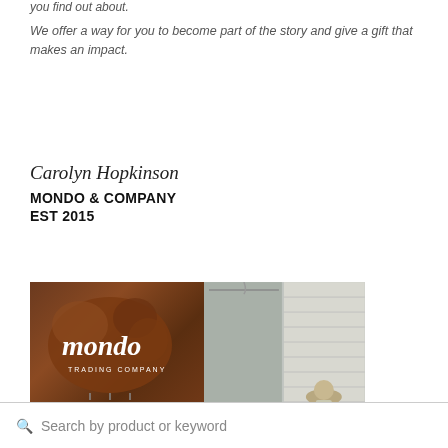you find out about.
We offer a way for you to become part of the story and give a gift that makes an impact.
Carolyn Hopkinson
MONDO & COMPANY
EST 2015
[Figure (photo): Photo of the Mondo Trading Company store sign (wooden sign with cursive 'mondo' logo) on the left and the exterior of the building on the right, with a person wearing a hat visible.]
Search by product or keyword